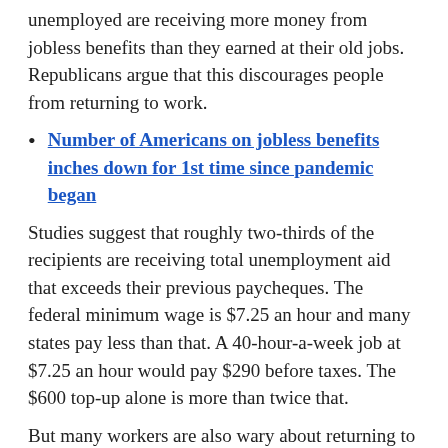unemployed are receiving more money from jobless benefits than they earned at their old jobs. Republicans argue that this discourages people from returning to work.
Number of Americans on jobless benefits inches down for 1st time since pandemic began
Studies suggest that roughly two-thirds of the recipients are receiving total unemployment aid that exceeds their previous paycheques. The federal minimum wage is $7.25 an hour and many states pay less than that. A 40-hour-a-week job at $7.25 an hour would pay $290 before taxes. The $600 top-up alone is more than twice that.
But many workers are also wary about returning to